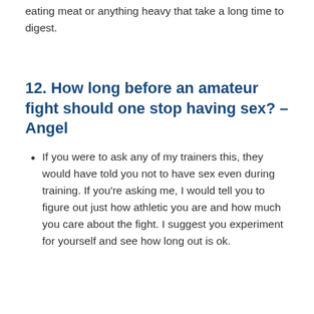eating meat or anything heavy that take a long time to digest.
12. How long before an amateur fight should one stop having sex? – Angel
If you were to ask any of my trainers this, they would have told you not to have sex even during training. If you're asking me, I would tell you to figure out just how athletic you are and how much you care about the fight. I suggest you experiment for yourself and see how long out is ok.